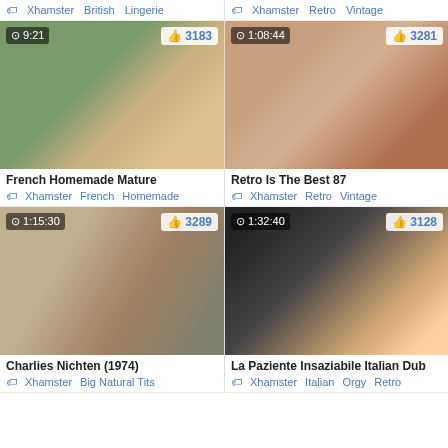Xhamster  British  Lingerie
[Figure (photo): Video thumbnail for French Homemade Mature, duration 9:21, likes 3183]
[Figure (photo): Video thumbnail for Retro Is The Best 87, duration 1:08:44, likes 3281]
French Homemade Mature
Xhamster  French  Homemade
Retro Is The Best 87
Xhamster  Retro  Vintage
Xhamster  Retro  Vintage
[Figure (photo): Video thumbnail for Charlies Nichten (1974), duration 1:15:30, likes 3289]
[Figure (photo): Video thumbnail for La Paziente Insaziabile Italian Dub, duration 1:32:40, likes 3128]
Charlies Nichten (1974)
Xhamster  Big Natural Tits
La Paziente Insaziabile Italian Dub
Xhamster  Italian  Orgy  Retro